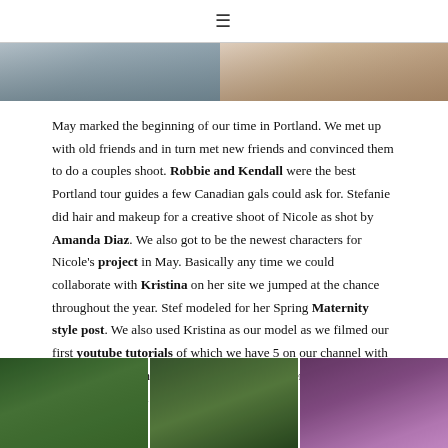≡
[Figure (photo): Two side-by-side photos partially visible at top of page — left shows a person outdoors, right shows colorful items]
May marked the beginning of our time in Portland. We met up with old friends and in turn met new friends and convinced them to do a couples shoot. Robbie and Kendall were the best Portland tour guides a few Canadian gals could ask for. Stefanie did hair and makeup for a creative shoot of Nicole as shot by Amanda Diaz. We also got to be the newest characters for Nicole's project in May. Basically any time we could collaborate with Kristina on her site we jumped at the chance throughout the year. Stef modeled for her Spring Maternity style post. We also used Kristina as our model as we filmed our first youtube tutorials of which we have 5 on our channel with 470 subscribers and growing and a total of over 48,000 views since we launched our videos in May.
[Figure (photo): Three side-by-side outdoor nature photos at bottom — left two show green trees/foliage, right shows purple flowering trees or blossoms]